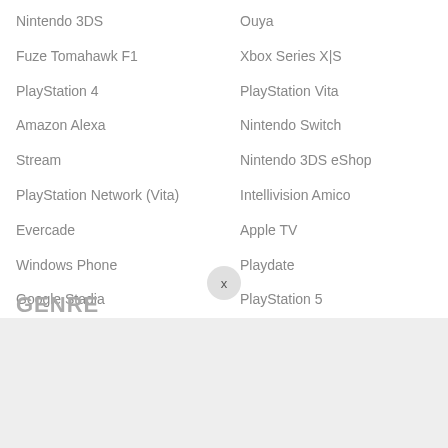Nintendo 3DS
Ouya
Fuze Tomahawk F1
Xbox Series X|S
PlayStation 4
PlayStation Vita
Amazon Alexa
Nintendo Switch
Stream
Nintendo 3DS eShop
PlayStation Network (Vita)
Intellivision Amico
Evercade
Apple TV
Windows Phone
Playdate
Google Stadia
PlayStation 5
Xbox One
Oculus Quest
New Nintendo 3DS
Amazon Fire TV
GENRE